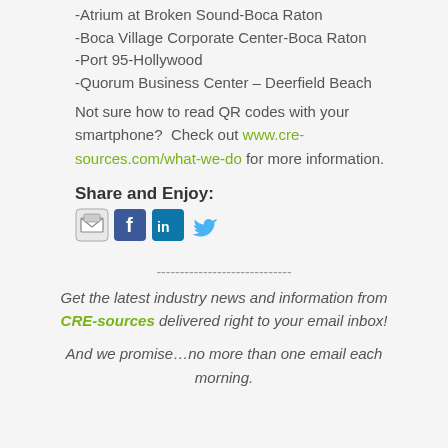-Atrium at Broken Sound-Boca Raton
-Boca Village Corporate Center-Boca Raton
-Port 95-Hollywood
-Quorum Business Center – Deerfield Beach
Not sure how to read QR codes with your smartphone?  Check out www.cre-sources.com/what-we-do for more information.
Share and Enjoy:
[Figure (infographic): Row of social sharing icons: print/email icon, Facebook icon, LinkedIn icon, Twitter bird icon]
-----------------------------
Get the latest industry news and information from CRE-sources delivered right to your email inbox!
And we promise…no more than one email each morning.